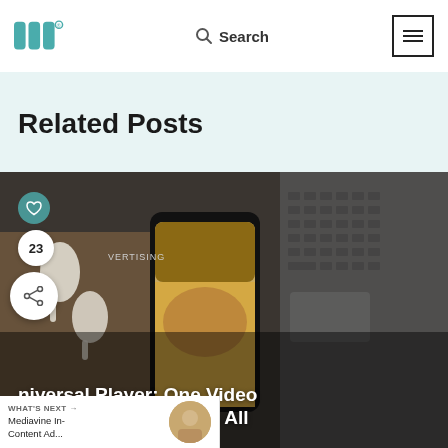Mediavine logo, Search, Menu
Related Posts
[Figure (photo): Hand holding a smartphone displaying a food/recipe Instagram post, with AirPods and a laptop keyboard visible on a wooden desk in the background. Overlay icons: heart button, number badge '23', share button.]
Advertising
Universal Player: One Video Solution to Rule Them All
WHAT'S NEXT → Mediavine In-Content Ad...